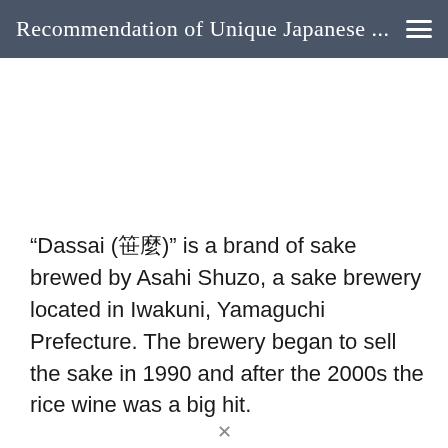Recommendation of Unique Japanese ...
“Dassai (罵鼎)” is a brand of sake brewed by Asahi Shuzo, a sake brewery located in Iwakuni, Yamaguchi Prefecture. The brewery began to sell the sake in 1990 and after the 2000s the rice wine was a big hit.